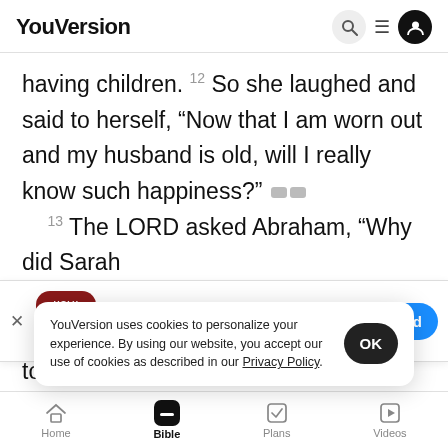YouVersion
having children. 12 So she laughed and said to herself, “Now that I am worn out and my husband is old, will I really know such happiness?” 13 The LORD asked Abraham, “Why did Sarah
[Figure (screenshot): The Bible App download banner with icon, star rating 7.9M, and Download button]
too diffi
time I p
son."
YouVersion uses cookies to personalize your experience. By using our website, you accept our use of cookies as described in our Privacy Policy.
Home  Bible  Plans  Videos